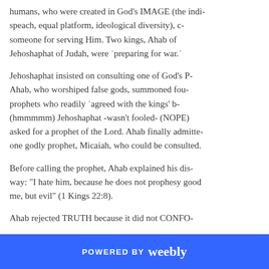humans, who were created in God's IMAGE (the indi- speach, equal platform, ideological diversity), c- someone for serving Him. Two kings, Ahab of Jehoshaphat of Judah, were "preparing for war."
Jehoshaphat insisted on consulting one of God's P- Ahab, who worshiped false gods, summoned fou- prophets who readily "agreed with the kings' b- (hmmmmm) Jehoshaphat -wasn't fooled- (NOPE) asked for a prophet of the Lord. Ahab finally admitte- one godly prophet, Micaiah, who could be consulted.
Before calling the prophet, Ahab explained his dis- way: "I hate him, because he does not prophesy good me, but evil" (1 Kings 22:8).
Ahab rejected TRUTH because it did not CONFO-
POWERED BY weebly